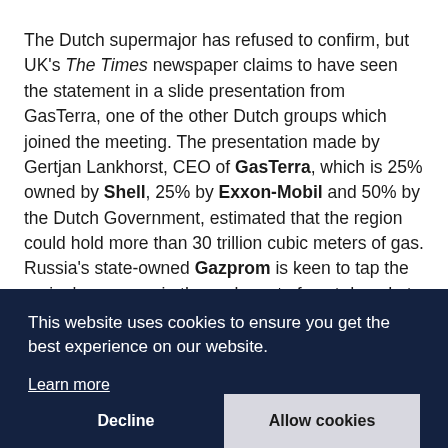The Dutch supermajor has refused to confirm, but UK's The Times newspaper claims to have seen the statement in a slide presentation from GasTerra, one of the other Dutch groups which joined the meeting. The presentation made by Gertjan Lankhorst, CEO of GasTerra, which is 25% owned by Shell, 25% by Exxon-Mobil and 50% by the Dutch Government, estimated that the region could hold more than 30 trillion cubic meters of gas. Russia's state-owned Gazprom is keen to tap the region's reserves in the early part of next decade to replace declines in its o[obscured]
This website uses cookies to ensure you get the best experience on our website.
Learn more
Decline
Allow cookies